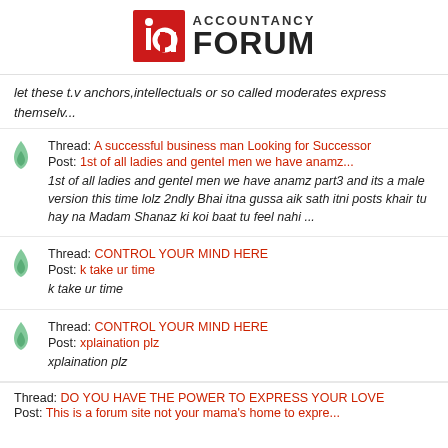[Figure (logo): Accountancy Forum logo with red stylized 'a' icon and bold FORUM text]
let these t.v anchors,intellectuals or so called moderates express themselv...
Thread: A successful business man Looking for Successor
Post: 1st of all ladies and gentel men we have anamz...
1st of all ladies and gentel men we have anamz part3 and its a male version this time lolz 2ndly Bhai itna gussa aik sath itni posts khair tu hay na Madam Shanaz ki koi baat tu feel nahi ...
Thread: CONTROL YOUR MIND HERE
Post: k take ur time
k take ur time
Thread: CONTROL YOUR MIND HERE
Post: xplaination plz
xplaination plz
Thread: DO YOU HAVE THE POWER TO EXPRESS YOUR LOVE
Post: This is a forum site not your mama's home to expre...